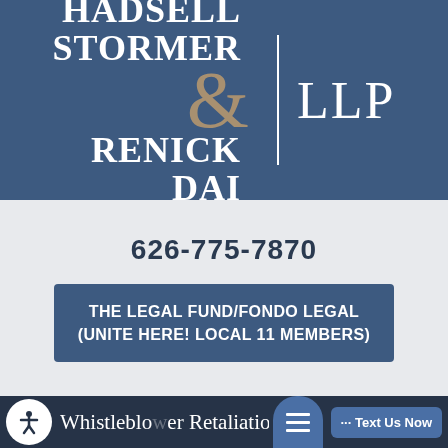[Figure (logo): Hadsell Stormer & Renick Dai LLP law firm logo on dark blue background]
626-775-7870
THE LEGAL FUND/FONDO LEGAL (UNITE HERE! LOCAL 11 MEMBERS)
Whistleblower Retaliation
... Text Us Now